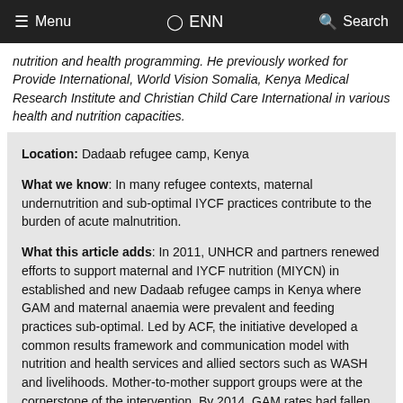Menu  ENN  Search
nutrition and health programming. He previously worked for Provide International, World Vision Somalia, Kenya Medical Research Institute and Christian Child Care International in various health and nutrition capacities.
Location: Dadaab refugee camp, Kenya

What we know: In many refugee contexts, maternal undernutrition and sub-optimal IYCF practices contribute to the burden of acute malnutrition.

What this article adds: In 2011, UNHCR and partners renewed efforts to support maternal and IYCF nutrition (MIYCN) in established and new Dadaab refugee camps in Kenya where GAM and maternal anaemia were prevalent and feeding practices sub-optimal. Led by ACF, the initiative developed a common results framework and communication model with nutrition and health services and allied sectors such as WASH and livelihoods. Mother-to-mother support groups were at the cornerstone of the intervention. By 2014, GAM rates had fallen in the camps, largely attributable to improved MIYCN. A pilot of